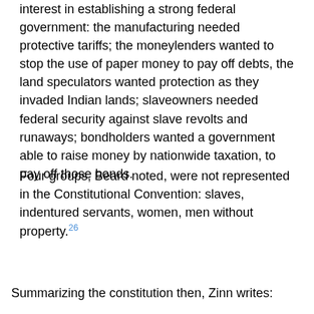interest in establishing a strong federal government: the manufacturing needed protective tariffs; the moneylenders wanted to stop the use of paper money to pay off debts, the land speculators wanted protection as they invaded Indian lands; slaveowners needed federal security against slave revolts and runaways; bondholders wanted a government able to raise money by nationwide taxation, to pay off those bonds.
Four groups, Beard noted, were not represented in the Constitutional Convention: slaves, indentured servants, women, men without property.26
Summarizing the constitution then, Zinn writes: